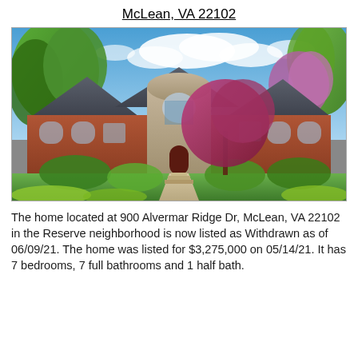McLean, VA  22102
[Figure (photo): Exterior photo of a large brick and stone two-story home at 900 Alvermar Ridge Dr, McLean, VA 22102. The house features a rounded stone tower with arched windows, brick facade, wooded backdrop with blue sky and clouds, and ornamental trees and landscaping in the foreground.]
The home located at 900 Alvermar Ridge Dr, McLean, VA 22102 in the Reserve neighborhood is now listed as Withdrawn as of 06/09/21. The home was listed for $3,275,000 on 05/14/21. It has 7 bedrooms, 7 full bathrooms and 1 half bath.